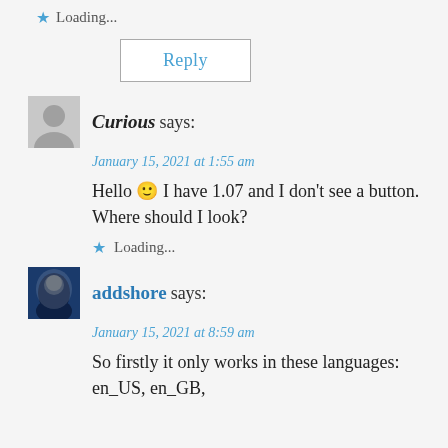★ Loading...
Reply
Curious says:
January 15, 2021 at 1:55 am
Hello 🙂 I have 1.07 and I don't see a button. Where should I look?
★ Loading...
addshore says:
January 15, 2021 at 8:59 am
So firstly it only works in these languages: en_US, en_GB,